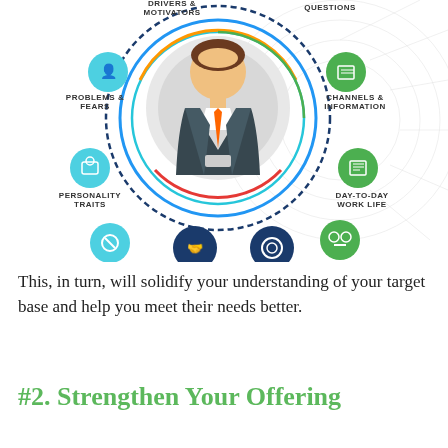[Figure (infographic): Buyer persona infographic: a central figure (person in suit with orange tie) surrounded by concentric rings with labeled icons: Drivers & Motivators, Problems & Fears, Personality Traits, Obsticals, Engagement (left side); Questions, Channels & Information, Day-to-Day Work Life, Influences, Buying Process (right side)]
This, in turn, will solidify your understanding of your target base and help you meet their needs better.
#2. Strengthen Your Offering